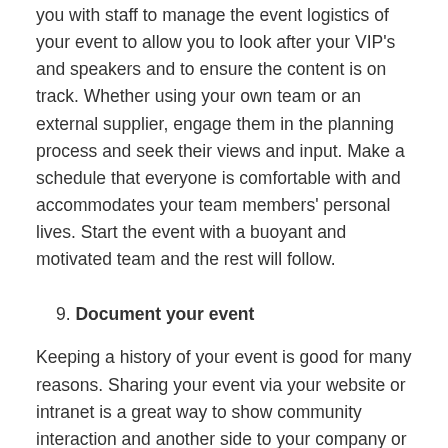you with staff to manage the event logistics of your event to allow you to look after your VIP's and speakers and to ensure the content is on track. Whether using your own team or an external supplier, engage them in the planning process and seek their views and input. Make a schedule that everyone is comfortable with and accommodates your team members' personal lives. Start the event with a buoyant and motivated team and the rest will follow.
9. Document your event
Keeping a history of your event is good for many reasons. Sharing your event via your website or intranet is a great way to show community interaction and another side to your company or organisation. This requires photos but doesn't necessarily mean hiring a professional photographer. If your budget allows for it, great. If not, talk to your employees and find out if anyone enjoys photography as a hobby or has a natural inclination for